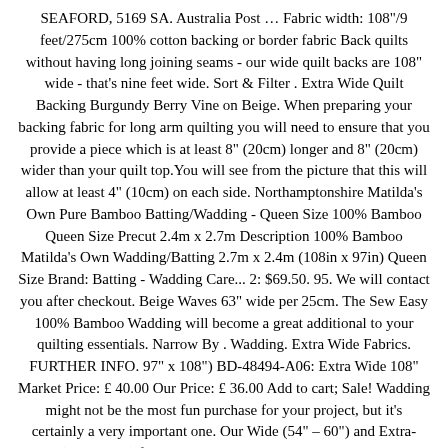SEAFORD, 5169 SA. Australia Post … Fabric width: 108"/9 feet/275cm 100% cotton backing or border fabric Back quilts without having long joining seams - our wide quilt backs are 108" wide - that's nine feet wide. Sort & Filter . Extra Wide Quilt Backing Burgundy Berry Vine on Beige. When preparing your backing fabric for long arm quilting you will need to ensure that you provide a piece which is at least 8" (20cm) longer and 8" (20cm) wider than your quilt top.You will see from the picture that this will allow at least 4" (10cm) on each side. Northamptonshire Matilda's Own Pure Bamboo Batting/Wadding - Queen Size 100% Bamboo Queen Size Precut 2.4m x 2.7m Description 100% Bamboo Matilda's Own Wadding/Batting 2.7m x 2.4m (108in x 97in) Queen Size Brand: Batting - Wadding Care... 2: $69.50. 95. We will contact you after checkout. Beige Waves 63" wide per 25cm. The Sew Easy 100% Bamboo Wadding will become a great additional to your quilting essentials. Narrow By . Wadding. Extra Wide Fabrics. FURTHER INFO. 97" x 108") BD-48494-A06: Extra Wide 108" Market Price: £ 40.00 Our Price: £ 36.00 Add to cart; Sale! Wadding might not be the most fun purchase for your project, but it’s certainly a very important one. Our Wide (54” – 60”) and Extra-Wide (90” – 108”) fabrics are the same quality 100% cotton as our other patchwork fabrics, just in a more convenient size for quilt backs, which often means you can avoid a join in your backing. Our Wide (54” – 60”) and Extra-Wide (90” – 108”) fabrics are the same quality 100% cotton as our other